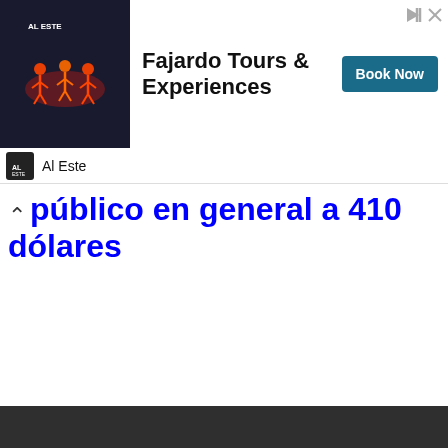[Figure (screenshot): Advertisement banner for Fajardo Tours & Experiences with a colorful image of performers on the left, text in the middle, and a 'Book Now' button on the right. Small ad controls (play and close icons) in top right corner.]
Al Este
público en general a 410 dólares